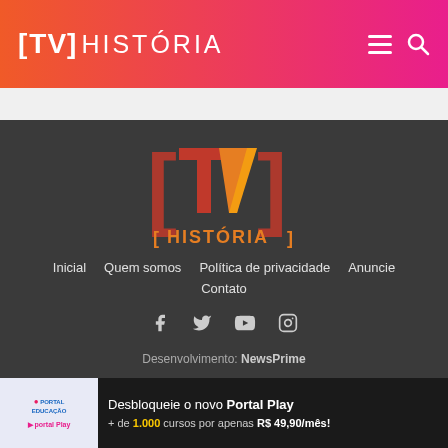[TV] HISTÓRIA
[Figure (logo): TV História logo: large TV letters in red-to-orange gradient with square brackets, HISTÓRIA text below in orange]
Inicial
Quem somos
Política de privacidade
Anuncie
Contato
[Figure (infographic): Social media icons: Facebook, Twitter, YouTube, Instagram in light gray]
Desenvolvimento: NewsPrime
[Figure (infographic): Ad banner: Portal Educação / Portal Play logo on left; dark background right side with text: Desbloqueie o novo Portal Play + de 1.000 cursos por apenas R$ 49,90/mês!]